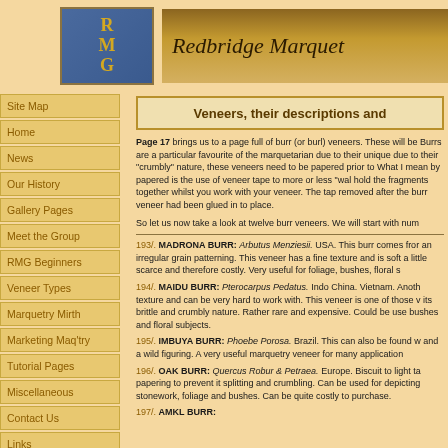[Figure (logo): RMG shield logo in blue with gold lettering]
[Figure (illustration): Redbridge Marquetry banner header with wood texture background]
Site Map
Home
News
Our History
Gallery Pages
Meet the Group
RMG Beginners
Veneer Types
Marquetry Mirth
Marketing Maq'try
Tutorial Pages
Miscellaneous
Contact Us
Links
Veneers, their descriptions and
Page 17 brings us to a page full of burr (or burl) veneers. These will be Burrs are a particular favourite of the marquetarian due to their unique due to their "crumbly" nature, these veneers need to be papered prior to What I mean by papered is the use of veneer tape to more or less "wal hold the fragments together whilst you work with your veneer. The tap removed after the burr veneer had been glued in to place.
So let us now take a look at twelve burr veneers. We will start with num
193/. MADRONA BURR: Arbutus Menziesii. USA. This burr comes from an irregular grain patterning. This veneer has a fine texture and is soft a little scarce and therefore costly. Very useful for foliage, bushes, floral s
194/. MAIDU BURR: Pterocarpus Pedatus. Indo China. Vietnam. Anoth texture and can be very hard to work with. This veneer is one of those v its brittle and crumbly nature. Rather rare and expensive. Could be use bushes and floral subjects.
195/. IMBUYA BURR: Phoebe Porosa. Brazil. This can also be found w and a wild figuring. A very useful marquetry veneer for many application
196/. OAK BURR: Quercus Robur & Petraea. Europe. Biscuit to light ta papering to prevent it splitting and crumbling. Can be used for depicting stonework, foliage and bushes. Can be quite costly to purchase.
197/. AMKL BURR: ...